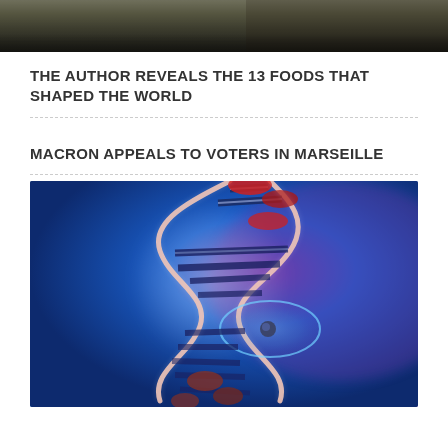[Figure (photo): Top portion of an outdoor/food related image, cropped at top of page]
THE AUTHOR REVEALS THE 13 FOODS THAT SHAPED THE WORLD
MACRON APPEALS TO VOTERS IN MARSEILLE
[Figure (illustration): Scientific illustration of a DNA double helix on a blue background with glowing effect and an atomic/orbital element in the middle]